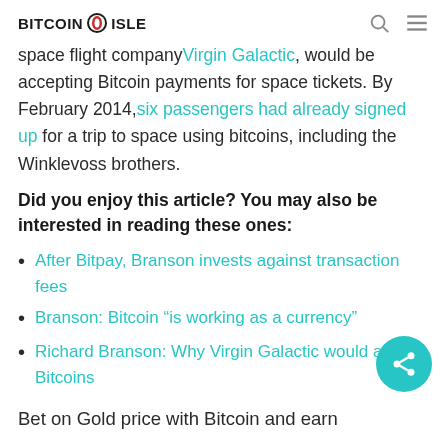BITCOIN ISLE
space flight company Virgin Galactic, would be accepting Bitcoin payments for space tickets. By February 2014, six passengers had already signed up for a trip to space using bitcoins, including the Winklevoss brothers.
Did you enjoy this article? You may also be interested in reading these ones:
After Bitpay, Branson invests against transaction fees
Branson: Bitcoin “is working as a currency”
Richard Branson: Why Virgin Galactic would accept Bitcoins
Bet on Gold price with Bitcoin and earn